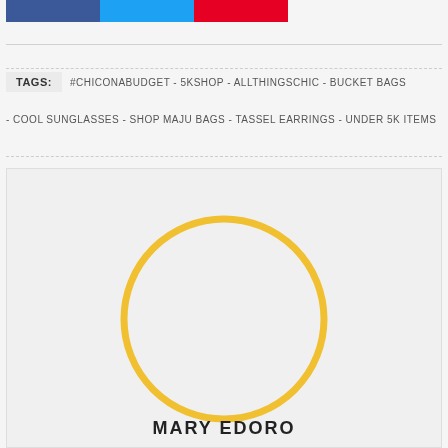[Figure (other): Three social share buttons: Facebook (blue), Twitter (light blue), Pinterest (red)]
TAGS: #CHICONABUDGET - 5KSHOP - ALLTHINGSCHIC - BUCKET BAGS - COOL SUNGLASSES - SHOP MAJU BAGS - TASSEL EARRINGS - UNDER 5K ITEMS
[Figure (illustration): Author profile circle (yellow outline, empty center) above name MARY EDORO]